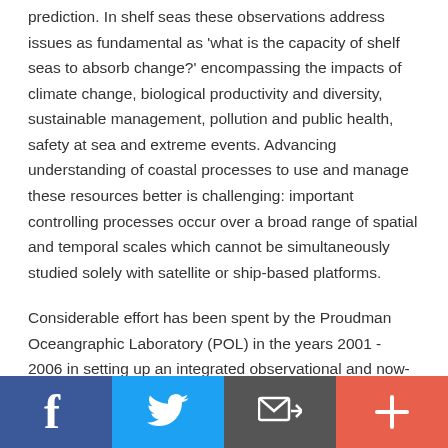prediction. In shelf seas these observations address issues as fundamental as 'what is the capacity of shelf seas to absorb change?' encompassing the impacts of climate change, biological productivity and diversity, sustainable management, pollution and public health, safety at sea and extreme events. Advancing understanding of coastal processes to use and manage these resources better is challenging: important controlling processes occur over a broad range of spatial and temporal scales which cannot be simultaneously studied solely with satellite or ship-based platforms.
Considerable effort has been spent by the Proudman Oceangraphic Laboratory (POL) in the years 2001 - 2006 in setting up an integrated observational and now-cast
[Figure (infographic): Social sharing bar with four buttons: Facebook (blue, f icon), Twitter (light blue, bird icon), Email/share (dark grey, envelope with arrow icon), Plus/more (red-orange, + icon)]